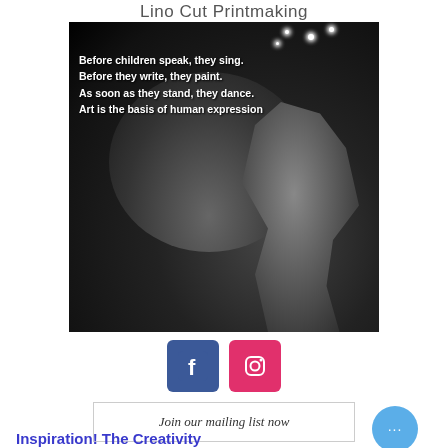Lino Cut Printmaking
[Figure (photo): Black and white photo of a young girl dancing with one arm raised, with sparkling stars above. White bold text overlay reads: Before children speak, they sing. Before they write, they paint. As soon as they stand, they dance. Art is the basis of human expression]
[Figure (logo): Facebook logo (blue square with white F) and Instagram logo (pink/red square with camera icon)]
Join our mailing list now
Inspiration! The Creativity